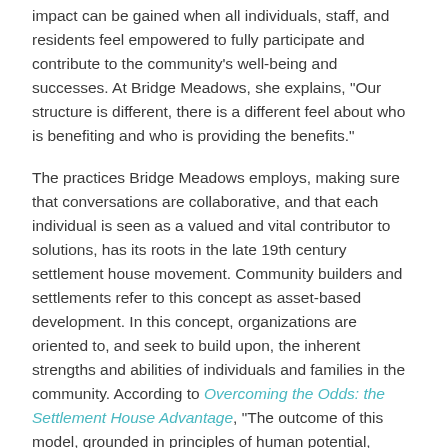impact can be gained when all individuals, staff, and residents feel empowered to fully participate and contribute to the community's well-being and successes. At Bridge Meadows, she explains, "Our structure is different, there is a different feel about who is benefiting and who is providing the benefits."
The practices Bridge Meadows employs, making sure that conversations are collaborative, and that each individual is seen as a valued and vital contributor to solutions, has its roots in the late 19th century settlement house movement. Community builders and settlements refer to this concept as asset-based development. In this concept, organizations are oriented to, and seek to build upon, the inherent strengths and abilities of individuals and families in the community. According to Overcoming the Odds: the Settlement House Advantage, "The outcome of this model, grounded in principles of human potential, community strengths, and fairness, can create a cumulative benefit for individuals and communities that goes beyond the value of service provisions." With a renewed sense of belonging, sense of efficacy, and sense of possibility among individuals and families, communities such as Bridge Meadows can begin to build upon the inherent strengths and abilities in place to